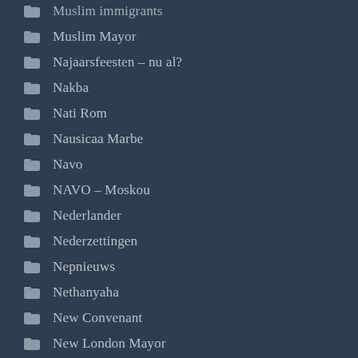Muslim immigrants
Muslim Mayor
Najaarsfeesten – nu al?
Nakba
Nati Rom
Nausicaa Marbe
Navo
NAVO – Moskou
Nederlander
Nederzettingen
Nepnieuws
Nethanyaha
New Convenant
New London Mayor